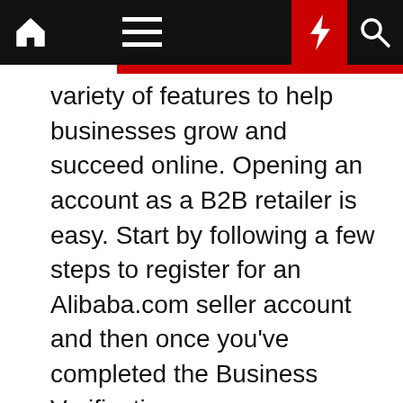Navigation bar with home, menu, moon/dark mode, bolt/flash, and search icons
variety of features to help businesses grow and succeed online. Opening an account as a B2B retailer is easy. Start by following a few steps to register for an Alibaba.com seller account and then once you've completed the Business Verification process, you can choose a dedicated account manager to help and support you through the entire process. Sign up for a seller account today.